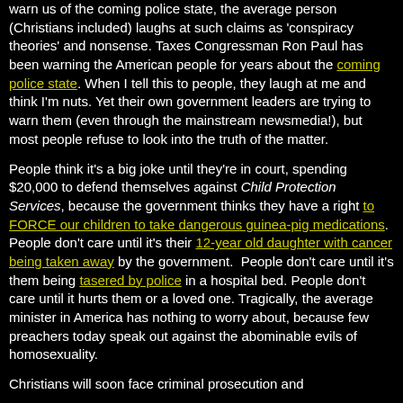warn us of the coming police state, the average person (Christians included) laughs at such claims as 'conspiracy theories' and nonsense. Taxes Congressman Ron Paul has been warning the American people for years about the coming police state. When I tell this to people, they laugh at me and think I'm nuts. Yet their own government leaders are trying to warn them (even through the mainstream newsmedia!), but most people refuse to look into the truth of the matter.
People think it's a big joke until they're in court, spending $20,000 to defend themselves against Child Protection Services, because the government thinks they have a right to FORCE our children to take dangerous guinea-pig medications. People don't care until it's their 12-year old daughter with cancer being taken away by the government. People don't care until it's them being tasered by police in a hospital bed. People don't care until it hurts them or a loved one. Tragically, the average minister in America has nothing to worry about, because few preachers today speak out against the abominable evils of homosexuality.
Christians will soon face criminal prosecution and